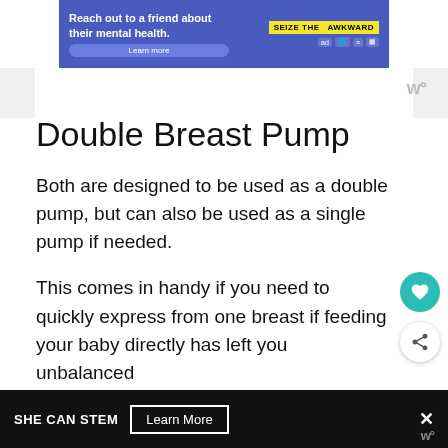[Figure (infographic): Top advertisement banner: 'Reach out to a friend about their mental health. Learn more' with 'SEIZE THE AWKWARD' badge on blue background]
Double Breast Pump
Both are designed to be used as a double pump, but can also be used as a single pump if needed.
This comes in handy if you need to quickly express from one breast if feeding your baby directly has left you unbalanced
[Figure (infographic): Bottom advertisement bar: 'SHE CAN STEM  Learn More' button on black background with close X button]